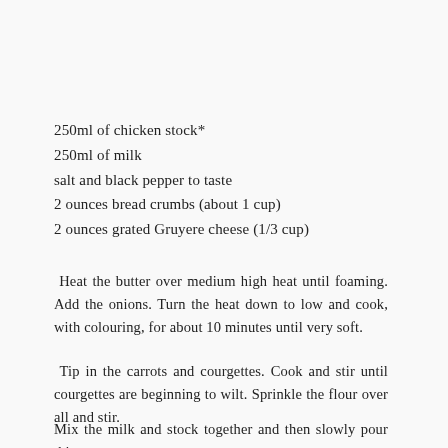250ml of chicken stock*
250ml of milk
salt and black pepper to taste
2 ounces bread crumbs (about 1 cup)
2 ounces grated Gruyere cheese (1/3 cup)
Heat the butter over medium high heat until foaming. Add the onions. Turn the heat down to low and cook, with colouring, for about 10 minutes until very soft.
Tip in the carrots and courgettes. Cook and stir until courgettes are beginning to wilt. Sprinkle the flour over all and stir.
Mix the milk and stock together and then slowly pour this